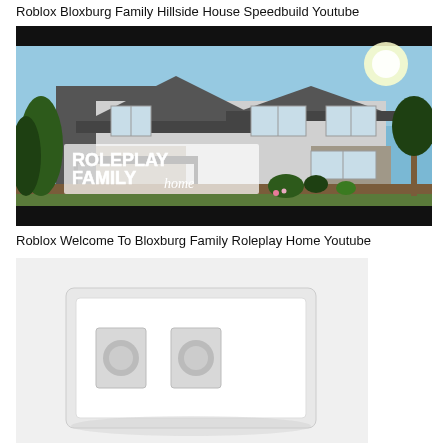Roblox Bloxburg Family Hillside House Speedbuild Youtube
[Figure (screenshot): Screenshot of a Roblox Bloxburg YouTube video thumbnail showing a two-story family house with gray siding and stone accents. Text overlay reads 'ROLEPLAY FAMILY home' on a semi-transparent white box. Background shows blue sky and greenery.]
Roblox Welcome To Bloxburg Family Roleplay Home Youtube
[Figure (screenshot): Partial screenshot showing a white 3D rendered furniture or building element, partially cut off at bottom of page.]